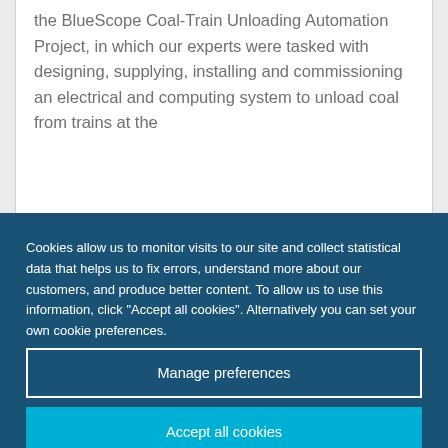the BlueScope Coal-Train Unloading Automation Project, in which our experts were tasked with designing, supplying, installing and commissioning an electrical and computing system to unload coal from trains at the
Cookies allow us to monitor visits to our site and collect statistical data that helps us to fix errors, understand more about our customers, and produce better content. To allow us to use this information, click "Accept all cookies". Alternatively you can set your own cookie preferences.
Manage preferences
Accept all cookies